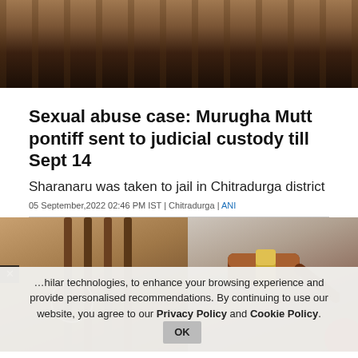[Figure (photo): Top photo: dark jail bars/cell background, top of page]
Sexual abuse case: Murugha Mutt pontiff sent to judicial custody till Sept 14
Sharanaru was taken to jail in Chitradurga district
05 September,2022 02:46 PM IST | Chitradurga | ANI
[Figure (photo): News article photo with X close button: left side shows hands gripping jail bars, right side shows a wooden gavel. Cookie consent banner overlaid at bottom.]
…hilar technologies, to enhance your browsing experience and provide personalised recommendations. By continuing to use our website, you agree to our Privacy Policy and Cookie Policy.